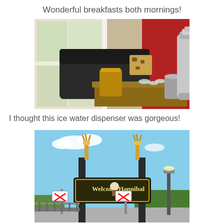Wonderful breakfasts both mornings!
[Figure (photo): Interior photo showing a breakfast setup with a large silver ice water dispenser, glassware, a copper/brass container, and a wooden tray with items on a table. Red walls and white window trim visible in background with leather couch.]
I thought this ice water dispenser was gorgeous!
[Figure (photo): Outdoor photo of a 'Welcome Hannibal' sign with decorative torch-like posts and a Tom Sawyer figure in the center, with blue sky, a street lamp, and railroad crossing signs visible in the background.]